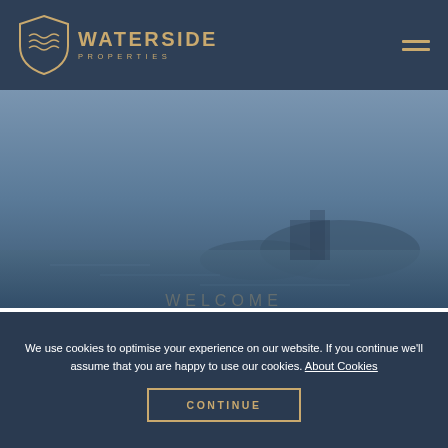WATERSIDE PROPERTIES
[Figure (screenshot): Waterside Properties website screenshot showing navigation header with logo and hamburger menu, a blueish-grey hero image area with a waterscape, a faint partial heading text, and a cookie consent overlay with text and a continue button.]
We use cookies to optimise your experience on our website. If you continue we'll assume that you are happy to use our cookies. About Cookies
CONTINUE